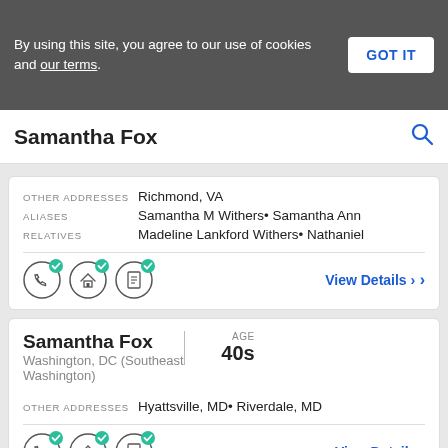By using this site, you agree to our use of cookies and our terms.
GOT IT
Samantha Fox
OTHER ADDRESSES  Richmond, VA
ALIASES  Samantha M Withers• Samantha Ann
RELATIVES  Madeline Lankford Withers• Nathanie
View Details >
Samantha Fox
Washington, DC (Southeast Washington)
AGE 40s
OTHER ADDRESSES  Hyattsville, MD• Riverdale, MD
View Details >